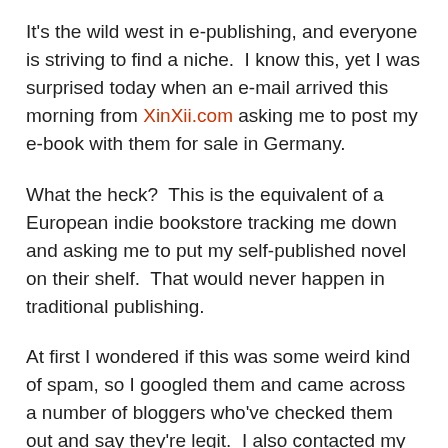It's the wild west in e-publishing, and everyone is striving to find a niche.  I know this, yet I was surprised today when an e-mail arrived this morning from XinXii.com asking me to post my e-book with them for sale in Germany.
What the heck?  This is the equivalent of a European indie bookstore tracking me down and asking me to put my self-published novel on their shelf.  That would never happen in traditional publishing.
At first I wondered if this was some weird kind of spam, so I googled them and came across a number of bloggers who've checked them out and say they're legit.  I also contacted my friend and fellow writer, Rebecca M. Senese,